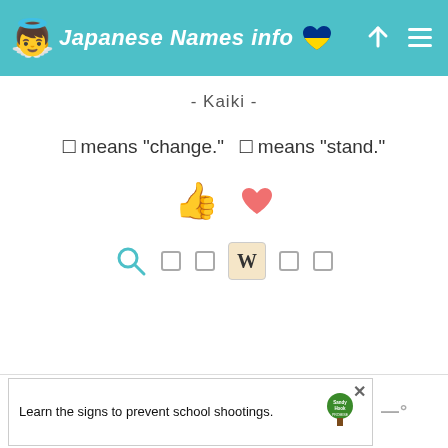Japanese Names info
- Kaiki -
□ means "change."   □ means "stand."
[Figure (screenshot): Advertisement banner: 'Learn the signs to prevent school shootings.' with Sandy Hook Promise logo]
Learn the signs to prevent school shootings. Sandy Hook Promise